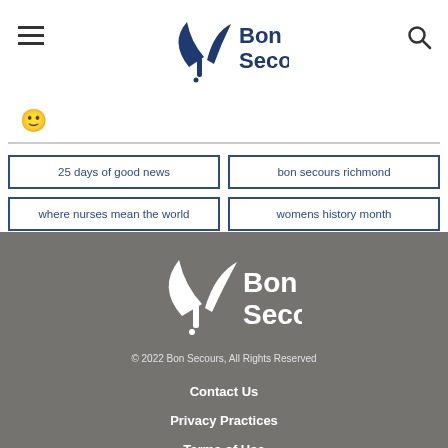[Figure (logo): Bon Secours logo in navy blue with stylized leaf/plant icon]
25 days of good news
bon secours richmond
where nurses mean the world
womens history month
[Figure (logo): Bon Secours logo in white on gray background]
© 2022 Bon Secours, All Rights Reserved
Contact Us
Privacy Practices
Terms of Use